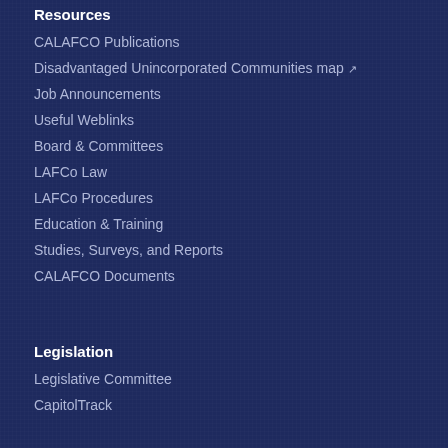Resources
CALAFCO Publications
Disadvantaged Unincorporated Communities map ↗
Job Announcements
Useful Weblinks
Board & Committees
LAFCo Law
LAFCo Procedures
Education & Training
Studies, Surveys, and Reports
CALAFCO Documents
Legislation
Legislative Committee
CapitolTrack